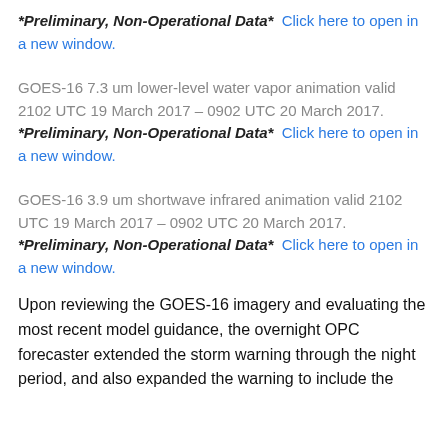*Preliminary, Non-Operational Data*  Click here to open in a new window.
GOES-16 7.3 um lower-level water vapor animation valid 2102 UTC 19 March 2017 – 0902 UTC 20 March 2017.  *Preliminary, Non-Operational Data*  Click here to open in a new window.
GOES-16 3.9 um shortwave infrared animation valid 2102 UTC 19 March 2017 – 0902 UTC 20 March 2017.  *Preliminary, Non-Operational Data*  Click here to open in a new window.
Upon reviewing the GOES-16 imagery and evaluating the most recent model guidance, the overnight OPC forecaster extended the storm warning through the night period, and also expanded the warning to include the